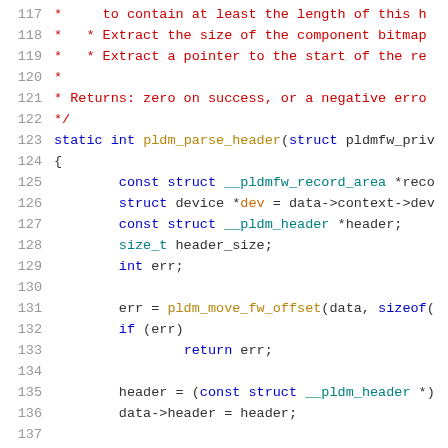[Figure (screenshot): Source code listing in C showing lines 117-137 of a file. Lines 117-122 are comment lines in red. Line 123 shows a function declaration in blue/dark. Lines 124-136 show function body with variable declarations and code in various syntax-highlighted colors.]